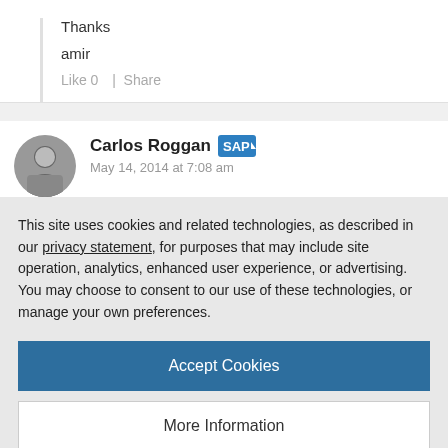Thanks
amir
Like 0  |  Share
Carlos Roggan
May 14, 2014 at 7:08 am
This site uses cookies and related technologies, as described in our privacy statement, for purposes that may include site operation, analytics, enhanced user experience, or advertising. You may choose to consent to our use of these technologies, or manage your own preferences.
Accept Cookies
More Information
Privacy Policy | Powered by: TrustArc
Mustafa Saglam | Blog Post Author